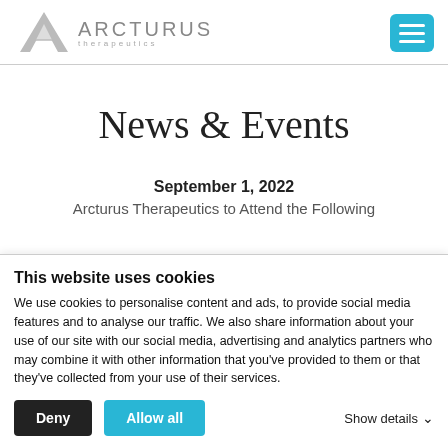[Figure (logo): Arcturus Therapeutics logo with stylized A and text]
News & Events
September 1, 2022
Arcturus Therapeutics to Attend the Following
This website uses cookies
We use cookies to personalise content and ads, to provide social media features and to analyse our traffic. We also share information about your use of our site with our social media, advertising and analytics partners who may combine it with other information that you've provided to them or that they've collected from your use of their services.
Deny | Allow all | Show details